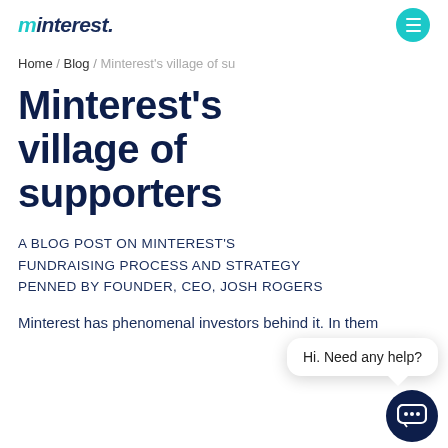minterest. [menu button]
Home / Blog / Minterest's village of su
Minterest's village of supporters
A BLOG POST ON MINTEREST'S FUNDRAISING PROCESS AND STRATEGY PENNED BY FOUNDER, CEO, JOSH ROGERS
Minterest has phenomenal investors behind it. In them